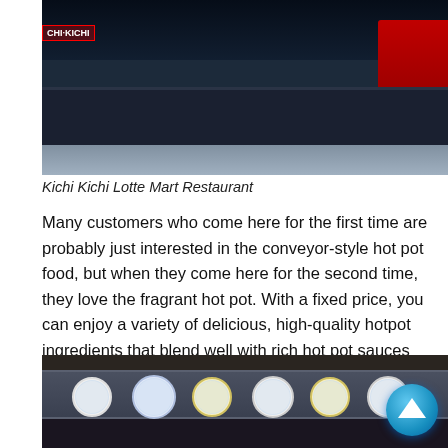[Figure (photo): Interior photo of Kichi Kichi Lotte Mart Restaurant showing a conveyor belt sushi/hot pot counter with illuminated food display panels in red, orange, yellow, and blue colors. Dark ceiling and tiled floor visible.]
Kichi Kichi Lotte Mart Restaurant
Many customers who come here for the first time are probably just interested in the conveyor-style hot pot food, but when they come here for the second time, they love the fragrant hot pot. With a fixed price, you can enjoy a variety of delicious, high-quality hotpot ingredients that blend well with rich hot pot sauces such as: cross pepper hot pot, tomyum hot pot, mushroom hot pot,...
[Figure (photo): Photo of a conveyor belt at the restaurant showing various plates with food under glass domes on a dark counter, with a blue scroll-up arrow button visible in the bottom right corner.]